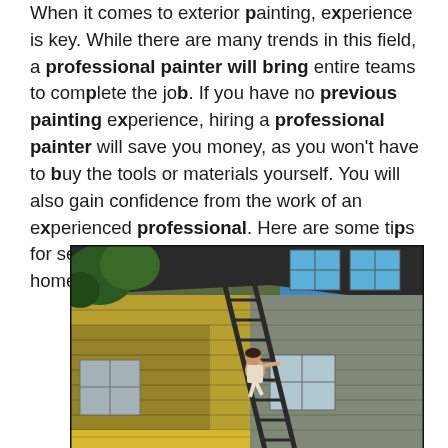When it comes to exterior painting, experience is key. While there are many trends in this field, a professional painter will bring entire teams to complete the job. If you have no previous painting experience, hiring a professional painter will save you money, as you won't have to buy the tools or materials yourself. You will also gain confidence from the work of an experienced professional. Here are some tips for selecting the best exterior painter for your home:
[Figure (photo): A person on a ladder painting the exterior of a building. The building has yellow siding with windows, dark roof structure, green trees visible on the left, and a blue sky visible on the upper right. A large metal ladder is leaning against the house.]